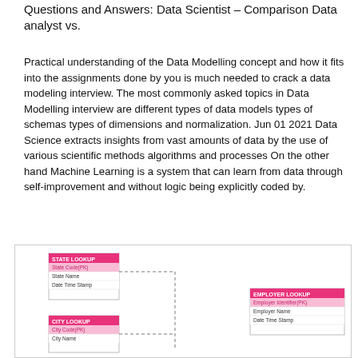Questions and Answers: Data Scientist – Comparison Data analyst vs.
Practical understanding of the Data Modelling concept and how it fits into the assignments done by you is much needed to crack a data modeling interview. The most commonly asked topics in Data Modelling interview are different types of data models types of schemas types of dimensions and normalization. Jun 01 2021 Data Science extracts insights from vast amounts of data by the use of various scientific methods algorithms and processes On the other hand Machine Learning is a system that can learn from data through self-improvement and without logic being explicitly coded by.
[Figure (schematic): Database entity-relationship diagram showing STATE LOOKUP table (State Code(PK), State Name, Date Time Stamp), CITY LOOKUP table (City Code(PK), City Name), and EMPLOYER LOOKUP table (Employer Identifier(PK), Employer Name, Date Time Stamp), with dashed lines indicating relationships between the tables.]